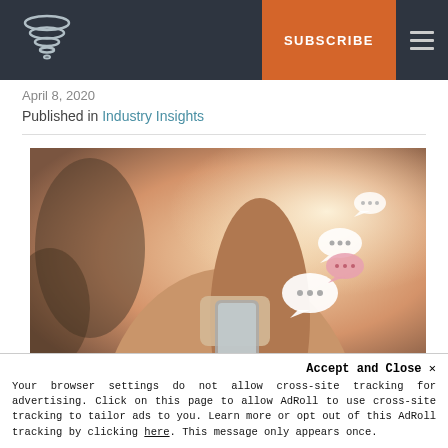SUBSCRIBE
April 8, 2020
Published in Industry Insights
[Figure (photo): Woman holding a smartphone with floating chat speech bubble icons]
Accept and Close ×
Your browser settings do not allow cross-site tracking for advertising. Click on this page to allow AdRoll to use cross-site tracking to tailor ads to you. Learn more or opt out of this AdRoll tracking by clicking here. This message only appears once.